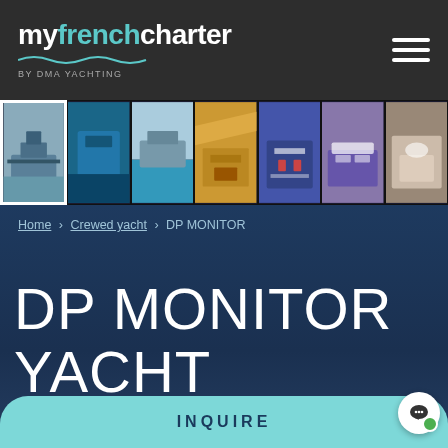[Figure (screenshot): Navigation bar with myfrenchcarter logo (by DMA Yachting) on dark background with hamburger menu icon]
[Figure (photo): Horizontal strip of 7 yacht photos: yacht from front angle, aerial view of yacht, yacht at sea, covered outdoor dining area, formal dining table set, bedroom cabin, bathroom]
Home › Crewed yacht › DP MONITOR
DP MONITOR YACHT CHARTER
INQUIRE